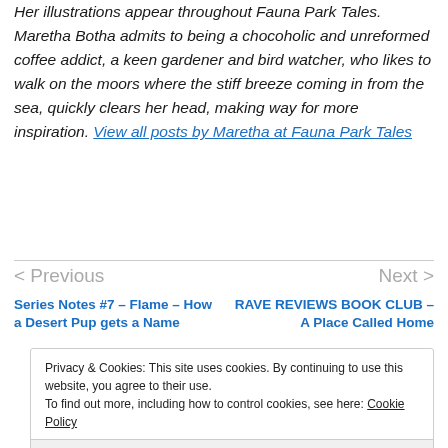Her illustrations appear throughout Fauna Park Tales. Maretha Botha admits to being a chocoholic and unreformed coffee addict, a keen gardener and bird watcher, who likes to walk on the moors where the stiff breeze coming in from the sea, quickly clears her head, making way for more inspiration. View all posts by Maretha at Fauna Park Tales
< Previous   Next >
Series Notes #7 – Flame – How a Desert Pup gets a Name
RAVE REVIEWS BOOK CLUB – A Place Called Home
Privacy & Cookies: This site uses cookies. By continuing to use this website, you agree to their use.
To find out more, including how to control cookies, see here: Cookie Policy
Close and accept